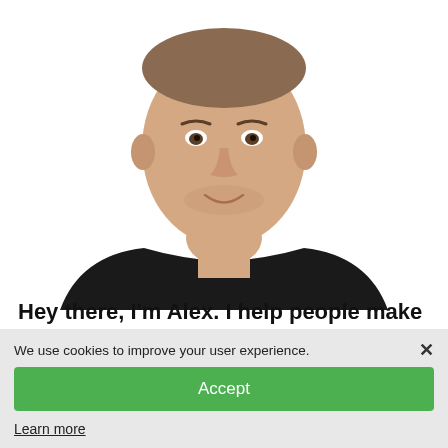[Figure (photo): Head and shoulders photo of a young man with short hair wearing a black t-shirt, smiling, on white background]
Hey there, I'm Alex. I help people make money online.
Follow me on my journey, where I share valuable insights, expose scam
We use cookies to improve your user experience.
Accept
Learn more